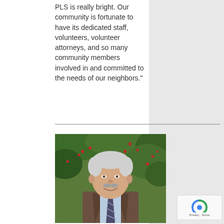PLS is really bright. Our community is fortunate to have its dedicated staff, volunteers, volunteer attorneys, and so many community members involved in and committed to the needs of our neighbors."
[Figure (photo): Portrait photo of an elderly man with white hair and a mustache, wearing a brown tweed jacket, light blue shirt, and striped tie, smiling in front of green foliage with red berries]